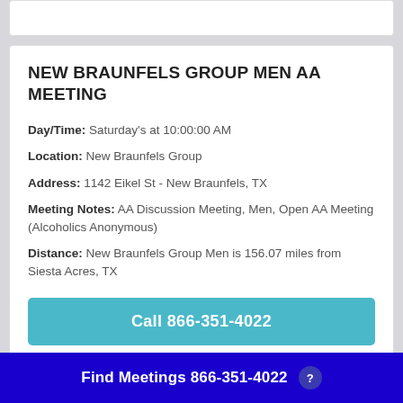NEW BRAUNFELS GROUP MEN AA MEETING
Day/Time: Saturday's at 10:00:00 AM
Location: New Braunfels Group
Address: 1142 Eikel St - New Braunfels, TX
Meeting Notes: AA Discussion Meeting, Men, Open AA Meeting (Alcoholics Anonymous)
Distance: New Braunfels Group Men is 156.07 miles from Siesta Acres, TX
Call 866-351-4022
Free confidential helpline.
Find Meetings 866-351-4022